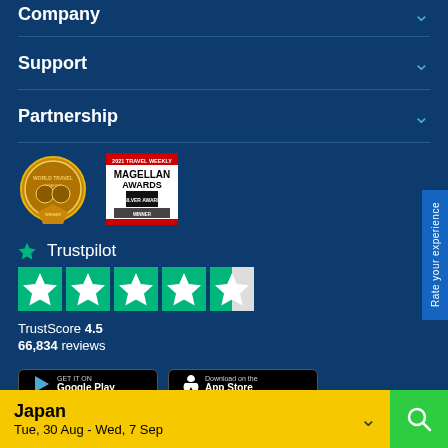Company
Support
Partnership
[Figure (logo): World Travel Awards Winner badge (gold circular logo)]
[Figure (logo): 2021 Travel Weekly Magellan Awards Silver Award Winner badge]
[Figure (logo): Trustpilot logo with green star]
[Figure (other): Trustpilot 4.5 star rating display with 5 green stars (last half-star)]
TrustScore 4.5
66,834 reviews
[Figure (screenshot): Google Play Store and Apple App Store download buttons]
Rate your experience
Japan
Tue, 30 Aug - Wed, 7 Sep